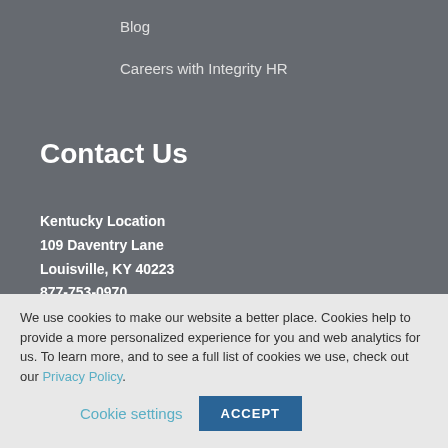Blog
Careers with Integrity HR
Contact Us
Kentucky Location
109 Daventry Lane
Louisville, KY 40223
877-753-0970
We use cookies to make our website a better place. Cookies help to provide a more personalized experience for you and web analytics for us. To learn more, and to see a full list of cookies we use, check out our Privacy Policy.
Cookie settings  ACCEPT